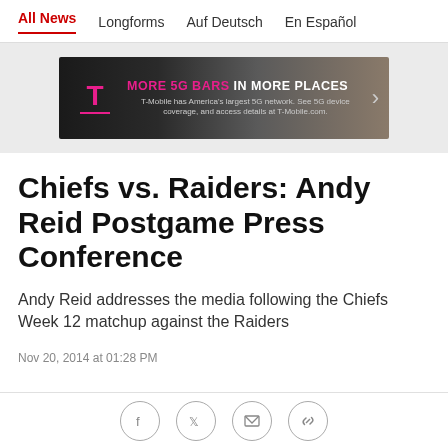All News  Longforms  Auf Deutsch  En Español
[Figure (other): T-Mobile advertisement banner: MORE 5G BARS IN MORE PLACES. T-Mobile has America's largest 5G network. See 5G device coverage, and access details at T-Mobile.com.]
Chiefs vs. Raiders: Andy Reid Postgame Press Conference
Andy Reid addresses the media following the Chiefs Week 12 matchup against the Raiders
Nov 20, 2014 at 01:28 PM
Social share icons: Facebook, Twitter, Email, Link